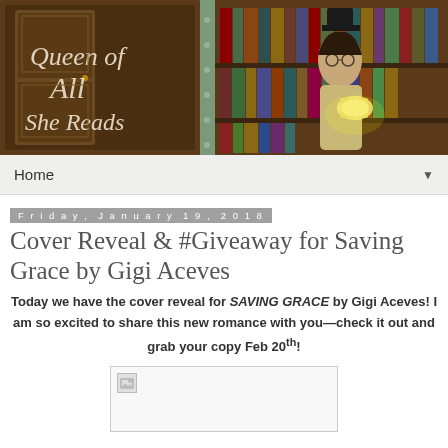[Figure (illustration): Blog header banner for 'Queen of All She Reads' showing a library scene with bookshelves and a steampunk-styled woman in a top hat reading a glowing book. Text overlay reads 'Queen of All She Reads'.]
Home ▼
Friday, January 19, 2018
Cover Reveal & #Giveaway for Saving Grace by Gigi Aceves
Today we have the cover reveal for SAVING GRACE by Gigi Aceves! I am so excited to share this new romance with you—check it out and grab your copy Feb 20th!
[Figure (photo): Broken/missing image placeholder for the book cover of Saving Grace]